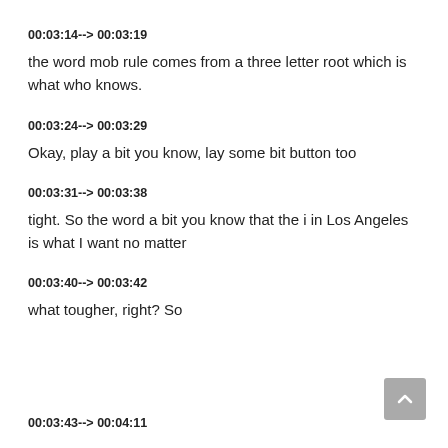00:03:14--> 00:03:19
the word mob rule comes from a three letter root which is what who knows.
00:03:24--> 00:03:29
Okay, play a bit you know, lay some bit button too
00:03:31--> 00:03:38
tight. So the word a bit you know that the i in Los Angeles is what I want no matter
00:03:40--> 00:03:42
what tougher, right? So
00:03:43--> 00:04:11